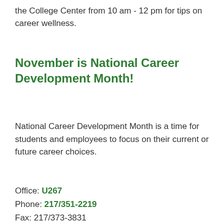the College Center from 10 am - 12 pm for tips on career wellness.
November is National Career Development Month!
National Career Development Month is a time for students and employees to focus on their current or future career choices.
Office: U267
Phone: 217/351-2219
Fax: 217/373-3831